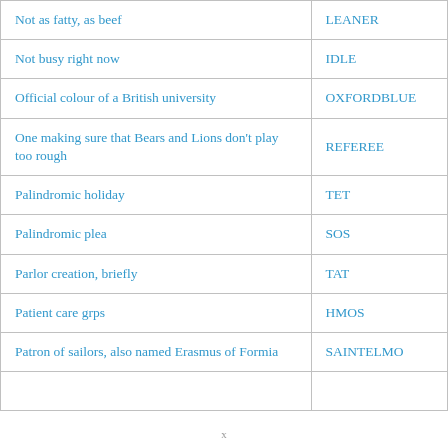| Clue | Answer |
| --- | --- |
| Not as fatty, as beef | LEANER |
| Not busy right now | IDLE |
| Official colour of a British university | OXFORDBLUE |
| One making sure that Bears and Lions don't play too rough | REFEREE |
| Palindromic holiday | TET |
| Palindromic plea | SOS |
| Parlor creation, briefly | TAT |
| Patient care grps | HMOS |
| Patron of sailors, also named Erasmus of Formia | SAINTELMO |